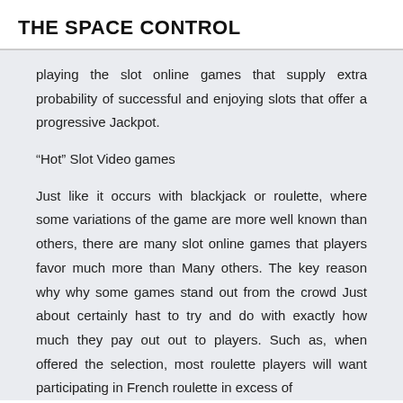THE SPACE CONTROL
playing the slot online games that supply extra probability of successful and enjoying slots that offer a progressive Jackpot.
“Hot” Slot Video games
Just like it occurs with blackjack or roulette, where some variations of the game are more well known than others, there are many slot online games that players favor much more than Many others. The key reason why why some games stand out from the crowd Just about certainly hast to try and do with exactly how much they pay out out to players. Such as, when offered the selection, most roulette players will want participating in French roulette in excess of